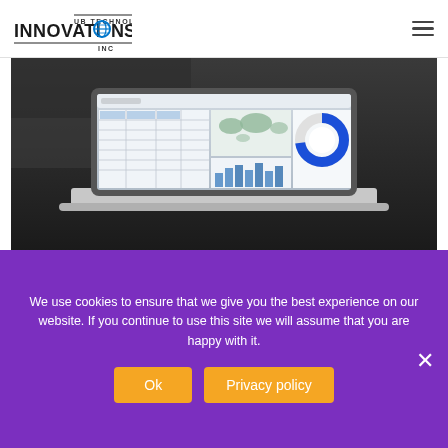UB TECHNOLOGY INNOVATIONS INC
[Figure (screenshot): Laptop computer displaying a dashboard with charts, a world map, and a donut chart on a dark desk surface]
Simplifying quality testing of third party
We use cookies to ensure that we give you the best experience on our website. If you continue to use this site we will assume that you are happy with it.
Ok   Privacy policy